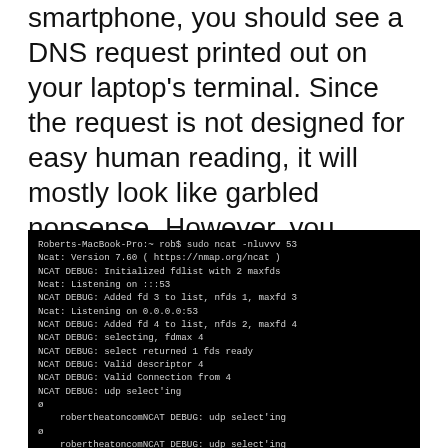smartphone, you should see a DNS request printed out on your laptop's terminal. Since the request is not designed for easy human reading, it will mostly look like garbled nonsense. However, you should still be able to make out the hostname of the website you are trying to visit, somewhere amidst the gibberish.
[Figure (screenshot): Terminal output showing sudo ncat -nluvvv 53 command with NCAT DEBUG messages including initialization, listening on ports, fd additions, select operations, valid descriptor and connection messages, udp select'ing lines, and partial robertheatoncomNCAT DEBUG lines.]